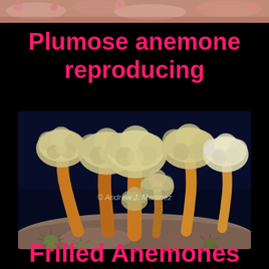[Figure (photo): Narrow strip of underwater photo showing pink/orange coral or anemone organisms at the top of the page]
Plumose anemone reproducing
[Figure (photo): Underwater photograph of plumose anemones (Metridium) with fluffy white/yellow tentacle crowns on orange-brown stalks, clustered together on a rocky substrate with sea urchins visible. Watermark: © Andrew J. Martinez]
Frilled Anemones